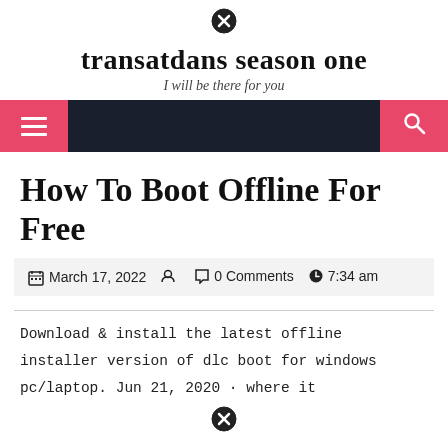[Figure (other): Close/cancel circle icon at top center of page]
transatdans season one
I will be there for you
[Figure (other): Navigation bar with dark background, pink hamburger menu button on left and pink search button on right]
How To Boot Offline For Free
March 17, 2022   0 Comments   7:34 am
Download & install the latest offline installer version of dlc boot for windows pc/laptop. Jun 21, 2020 · where it
[Figure (other): Close/cancel circle icon at bottom center of page]